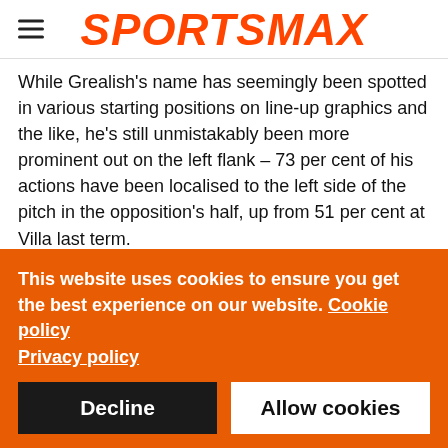SPORTSMAX
While Grealish's name has seemingly been spotted in various starting positions on line-up graphics and the like, he's still unmistakably been more prominent out on the left flank – 73 per cent of his actions have been localised to the left side of the pitch in the opposition's half, up from 51 per cent at Villa last term.
Of course, at City he is in a team that spends more time on the front foot and in possession than Villa in 2020-21, so such an increase isn't exactly a surprise, but it does suggest Guardiola
This website uses cookies to ensure you get the best experience on our website. Cookie policy
Privacy policy
Decline
Allow cookies